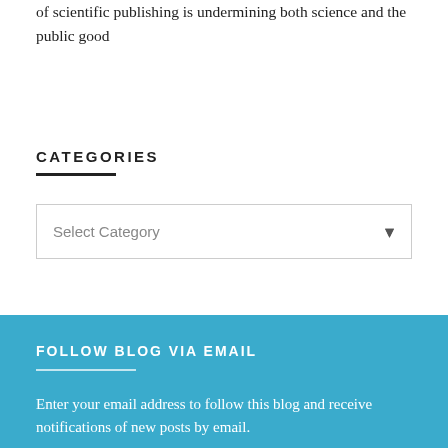of scientific publishing is undermining both science and the public good
CATEGORIES
Select Category
FOLLOW BLOG VIA EMAIL
Enter your email address to follow this blog and receive notifications of new posts by email.
Enter your email address